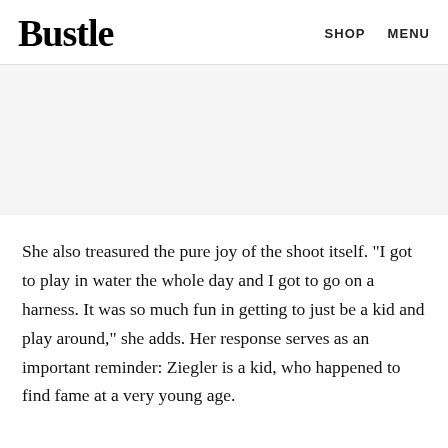Bustle   SHOP   MENU
[Figure (other): Gray advertisement placeholder banner]
She also treasured the pure joy of the shoot itself. "I got to play in water the whole day and I got to go on a harness. It was so much fun in getting to just be a kid and play around," she adds. Her response serves as an important reminder: Ziegler is a kid, who happened to find fame at a very young age.